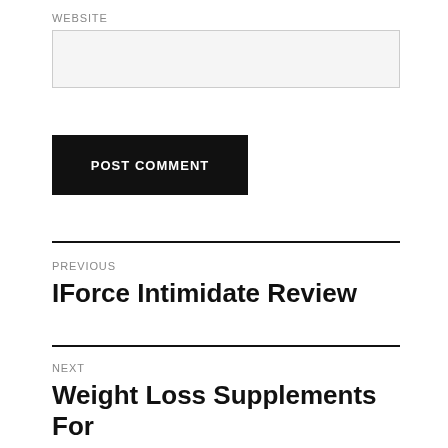WEBSITE
[input field]
POST COMMENT
PREVIOUS
IForce Intimidate Review
NEXT
Weight Loss Supplements For